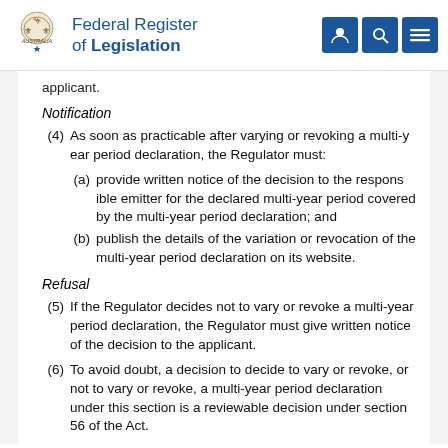Federal Register of Legislation
applicant.
Notification
(4) As soon as practicable after varying or revoking a multi-year period declaration, the Regulator must:
(a) provide written notice of the decision to the responsible emitter for the declared multi-year period covered by the multi-year period declaration; and
(b) publish the details of the variation or revocation of the multi-year period declaration on its website.
Refusal
(5) If the Regulator decides not to vary or revoke a multi-year period declaration, the Regulator must give written notice of the decision to the applicant.
(6) To avoid doubt, a decision to decide to vary or revoke, or not to vary or revoke, a multi-year period declaration under this section is a reviewable decision under section 56 of the Act.
69 Revocation of multi-year period declaration because of false or misleading information
(1) If, during a declared multi-year period, the Regulator becomes aware...